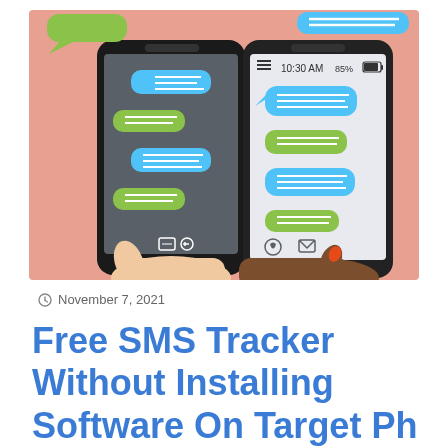[Figure (illustration): Two hands holding smartphones showing SMS/messaging conversations with blue and green speech bubbles on screen. Left phone has dark background with colorful chat bubbles; right phone shows a light-colored messaging app with status bar showing 10:30 AM and 85% battery. Pink/salmon background behind both phones.]
November 7, 2021
Free SMS Tracker Without Installing Software On Target Ph...